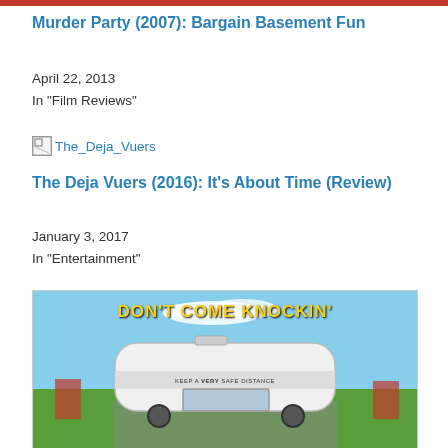[Figure (photo): Top red banner image (cropped, partially visible)]
Murder Party (2007): Bargain Basement Fun
April 22, 2013
In "Film Reviews"
[Figure (illustration): Broken image placeholder for The_Deja_Vuers with alt text 'The_Deja_Vuers']
The Deja Vuers (2016): It’s About Time (Review)
January 3, 2017
In "Entertainment"
[Figure (photo): Movie poster for 'Don't Come Knockin'' showing an RV camper van on a road with text 'KEEP A VERY SAFE DISTANCE' on it, against a blue sky and green field background]